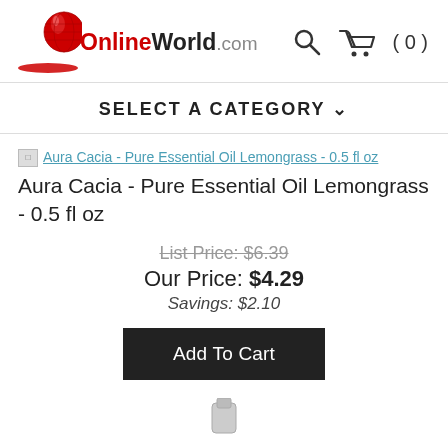[Figure (logo): OnlineWorld.com logo with red globe graphic and red/black text]
[Figure (other): Search icon and shopping cart icon with (0) count]
SELECT A CATEGORY ▾
Aura Cacia - Pure Essential Oil Lemongrass - 0.5 fl oz (link with broken image icon)
Aura Cacia - Pure Essential Oil Lemongrass - 0.5 fl oz
List Price: $6.39
Our Price: $4.29
Savings: $2.10
Add To Cart